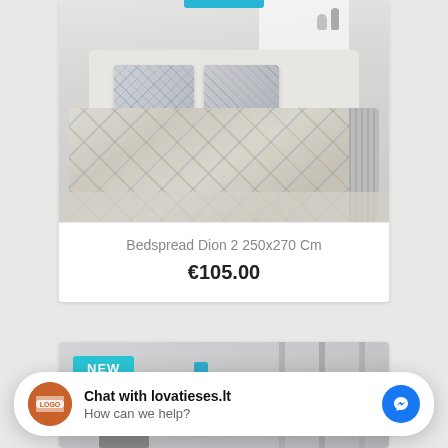[Figure (photo): Bedroom with decorative bedspread Dion 2, patterned with geometric shapes in blue and beige tones, with matching pillows]
Bedspread Dion 2 250x270 Cm
€105.00
[Figure (photo): Second product card with NEW badge in cyan, showing partial bedroom photo]
NEW
Chat with lovatieses.lt
How can we help?